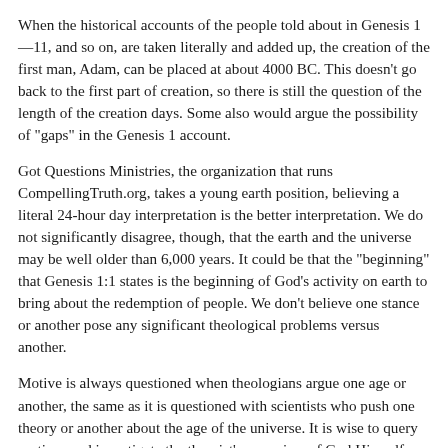When the historical accounts of the people told about in Genesis 1—11, and so on, are taken literally and added up, the creation of the first man, Adam, can be placed at about 4000 BC. This doesn't go back to the first part of creation, so there is still the question of the length of the creation days. Some also would argue the possibility of "gaps" in the Genesis 1 account.
Got Questions Ministries, the organization that runs CompellingTruth.org, takes a young earth position, believing a literal 24-hour day interpretation is the better interpretation. We do not significantly disagree, though, that the earth and the universe may be well older than 6,000 years. It could be that the "beginning" that Genesis 1:1 states is the beginning of God's activity on earth to bring about the redemption of people. We don't believe one stance or another pose any significant theological problems versus another.
Motive is always questioned when theologians argue one age or another, the same as it is questioned with scientists who push one theory or another about the age of the universe. It is wise to query motives and investigate the theorist's own view of God Himself.
Copyright 2011-2022 Got Questions Ministries - All Rights Reserved.